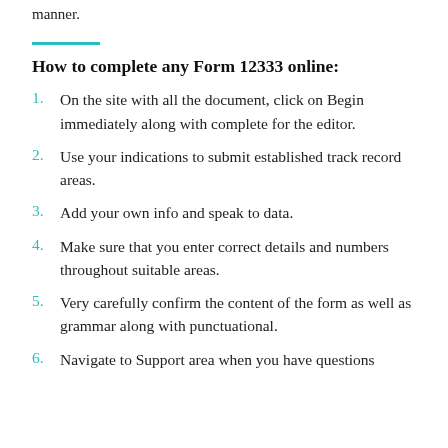manner.
How to complete any Form 12333 online:
On the site with all the document, click on Begin immediately along with complete for the editor.
Use your indications to submit established track record areas.
Add your own info and speak to data.
Make sure that you enter correct details and numbers throughout suitable areas.
Very carefully confirm the content of the form as well as grammar along with punctuational.
Navigate to Support area when you have questions